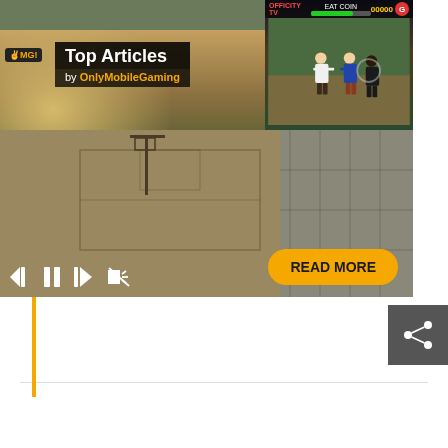[Figure (screenshot): Mobile gaming screenshot composite: GTA San Andreas basketball court scene on the left with OMG! logo overlay and Top Articles branding box showing 'Top Articles by OnlyMobileGaming'. A fighting game screenshot (arcade-style) in the top right corner showing two fighters. Media player controls (skip back, pause, skip forward, mute) at bottom left. Yellow 'READ MORE' button at bottom right. Orange vertical bar on the left side below the video. Gray share button on the right.]
Top Articles
by OnlyMobileGaming
READ MORE